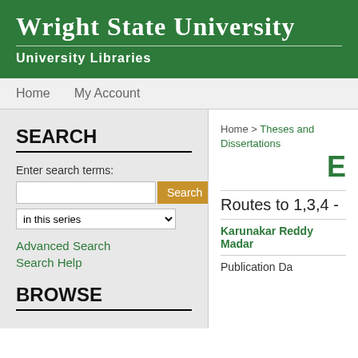WRIGHT STATE UNIVERSITY
UNIVERSITY LIBRARIES
Home   My Account
SEARCH
Enter search terms:
in this series
Advanced Search
Search Help
BROWSE
Home > Theses and Dissertations
E
Routes to 1,3,4 -
Karunakar Reddy Madar
Publication Da